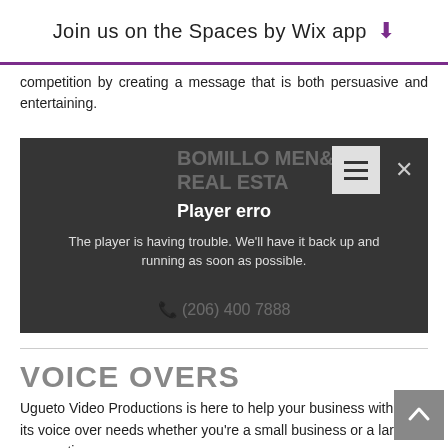Join us on the Spaces by Wix app ↓
competition by creating a message that is both persuasive and entertaining.
[Figure (screenshot): Video player error screen overlaid on a real estate office background showing two people, with 'REAL ESTATE' sign partially visible, a hamburger menu icon, a close X button, 'Player error' title, error message 'The player is having trouble. We'll have it back up and running as soon as possible.', and phone number (206) 400 7888]
VOICE OVERS
Ugueto Video Productions is here to help your business with all its voice over needs whether you're a small business or a large corporation.
Our professional production team is